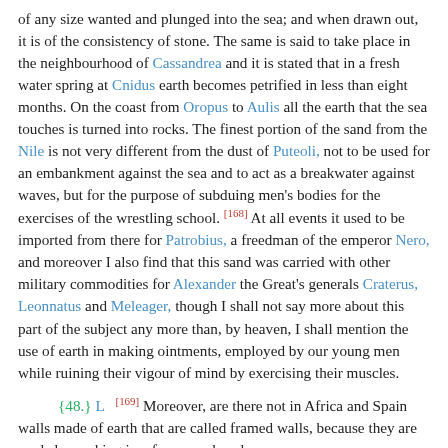of any size wanted and plunged into the sea; and when drawn out, it is of the consistency of stone. The same is said to take place in the neighbourhood of Cassandrea and it is stated that in a fresh water spring at Cnidus earth becomes petrified in less than eight months. On the coast from Oropus to Aulis all the earth that the sea touches is turned into rocks. The finest portion of the sand from the Nile is not very different from the dust of Puteoli, not to be used for an embankment against the sea and to act as a breakwater against waves, but for the purpose of subduing men's bodies for the exercises of the wrestling school. [168] At all events it used to be imported from there for Patrobius, a freedman of the emperor Nero, and moreover I also find that this sand was carried with other military commodities for Alexander the Great's generals Craterus, Leonnatus and Meleager, though I shall not say more about this part of the subject any more than, by heaven, I shall mention the use of earth in making ointments, employed by our young men while ruining their vigour of mind by exercising their muscles.
{48.} L [169] Moreover, are there not in Africa and Spain walls made of earth that are called framed walls, because they are made by packing in a frame enclosed